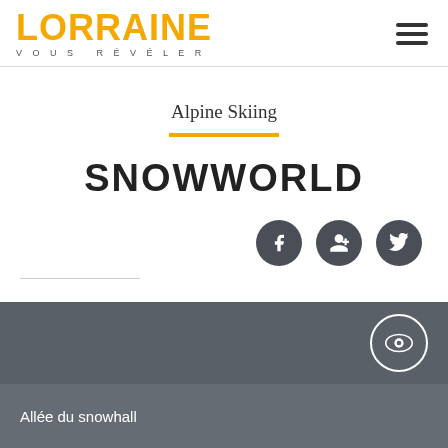Lorraine vous révéler
Alpine Skiing
SNOWWORLD
Allée du snowhall